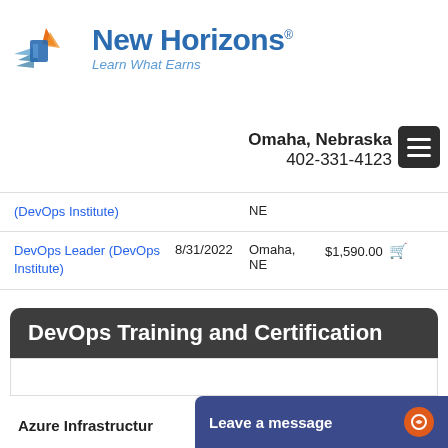[Figure (logo): New Horizons logo with tagline 'Learn What Earns']
Omaha, Nebraska
402-331-4123
| Course | Date | Location | Price |
| --- | --- | --- | --- |
| (DevOps Institute) |  | NE |  |
| DevOps Leader (DevOps Institute) | 8/31/2022 | Omaha, NE | $1,590.00 |
DevOps Training and Certification
Azure Infrastructur
Leave a message